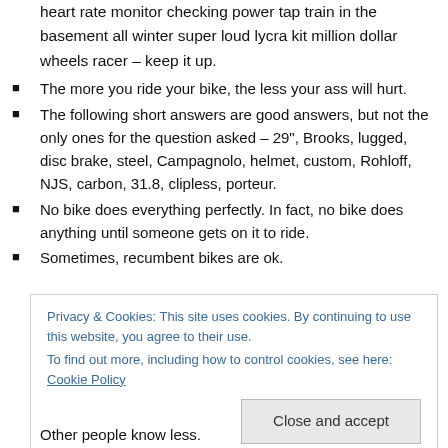heart rate monitor checking power tap train in the basement all winter super loud lycra kit million dollar wheels racer – keep it up.
The more you ride your bike, the less your ass will hurt.
The following short answers are good answers, but not the only ones for the question asked – 29", Brooks, lugged, disc brake, steel, Campagnolo, helmet, custom, Rohloff, NJS, carbon, 31.8, clipless, porteur.
No bike does everything perfectly. In fact, no bike does anything until someone gets on it to ride.
Sometimes, recumbent bikes are ok.
Privacy & Cookies: This site uses cookies. By continuing to use this website, you agree to their use.
To find out more, including how to control cookies, see here: Cookie Policy
Close and accept
Other people know less.